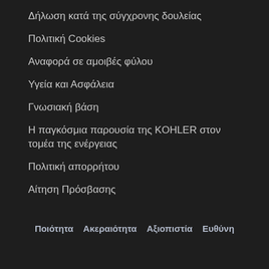Δήλωση κατά της σύγχρονης δουλείας
Πολιτική Cookies
Αναφορά σε αμοιβές φύλου
Υγεία και Ασφάλεια
Γνωσιακή βάση
Η παγκόσμια παρουσία της KOHLER στον τομέα της ενέργειας
Πολιτική απορρήτου
Αίτηση Πρόσβασης
Ποιότητα   Ακεραιότητα   Αξιοπιστία   Ευθύνη